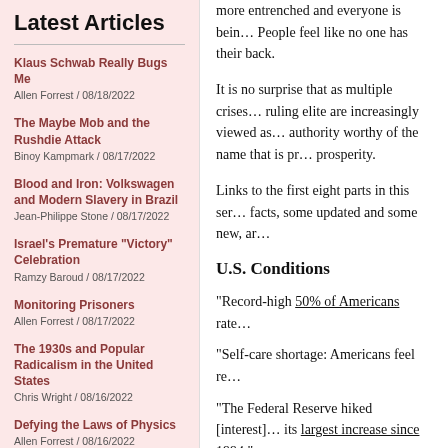Latest Articles
Klaus Schwab Really Bugs Me
Allen Forrest / 08/18/2022
The Maybe Mob and the Rushdie Attack
Binoy Kampmark / 08/17/2022
Blood and Iron: Volkswagen and Modern Slavery in Brazil
Jean-Philippe Stone / 08/17/2022
Israel's Premature "Victory" Celebration
Ramzy Baroud / 08/17/2022
Monitoring Prisoners
Allen Forrest / 08/17/2022
The 1930s and Popular Radicalism in the United States
Chris Wright / 08/16/2022
Defying the Laws of Physics
Allen Forrest / 08/16/2022
more entrenched and everyone is bein… People feel like no one has their back.
It is no surprise that as multiple crises… ruling elite are increasingly viewed as… authority worthy of the name that is pr… prosperity.
Links to the first eight parts in this ser… facts, some updated and some new, ar…
U.S. Conditions
“Record-high 50% of Americans rate…
“Self-care shortage: Americans feel re…
“The Federal Reserve hiked [interest]… its largest increase since 1994.”
“Weekly jobless claims hit 229,000, th…